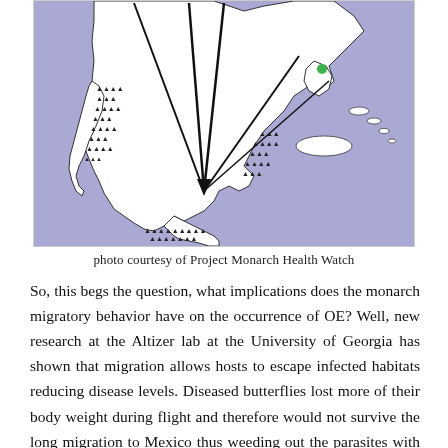[Figure (map): A simplified illustrated map of North America and Central America showing monarch butterfly migration routes. The map has a purple/lavender background representing ocean/sea. Mexico and surrounding landmasses are shown in white with dotted border outlines. Multiple black arrows converge downward toward central Mexico, indicating migratory paths. A small green dot appears near the Florida/southeastern US coast. The map shows the Gulf of Mexico, Caribbean islands (Cuba etc.), and parts of Central America.]
photo courtesy of Project Monarch Health Watch
So, this begs the question, what implications does the monarch migratory behavior have on the occurrence of OE? Well, new research at the Altizer lab at the University of Georgia has shown that migration allows hosts to escape infected habitats reducing disease levels. Diseased butterflies lost more of their body weight during flight and therefore would not survive the long migration to Mexico thus weeding out the parasites with them. Non-migratory populations retain their weakened butterflies and so the parasites persist. Researchers also found (in a 2010 study) that wild